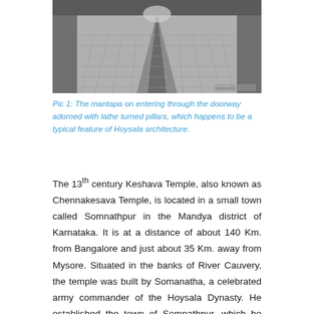[Figure (photo): Interior hallway/mantapa of a temple showing lathe turned pillars and stone floor in black and white]
Pic 1: The mantapa on entering through the doorway adorned with lathe turned pillars, which happens to be a typical feature of Hoysala architecture.
The 13th century Keshava Temple, also known as Chennakesava Temple, is located in a small town called Somnathpur in the Mandya district of Karnataka. It is at a distance of about 140 Km. from Bangalore and just about 35 Km. away from Mysore. Situated in the banks of River Cauvery, the temple was built by Somanatha, a celebrated army commander of the Hoysala Dynasty. He established the town of Somnathpur, which he named after himself.